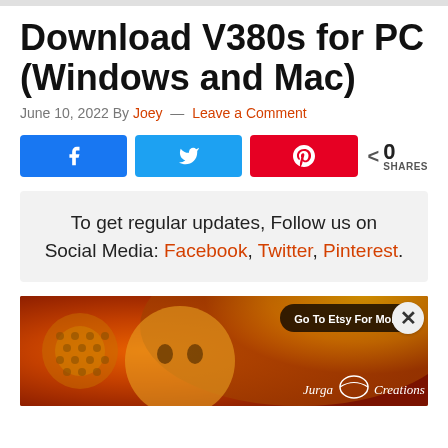Download V380s for PC (Windows and Mac)
June 10, 2022 By Joey — Leave a Comment
[Figure (other): Social share buttons: Facebook (blue), Twitter (blue), Pinterest (red), and a share count showing 0 SHARES]
To get regular updates, Follow us on Social Media: Facebook, Twitter, Pinterest.
[Figure (photo): Advertisement banner for Jurga Creations on Etsy showing colorful folk art painting with a face figure, honeycomb patterns in warm orange and yellow tones. Button reads 'Go To Etsy For More' and branding shows 'Jurga Creations' with a logo.]